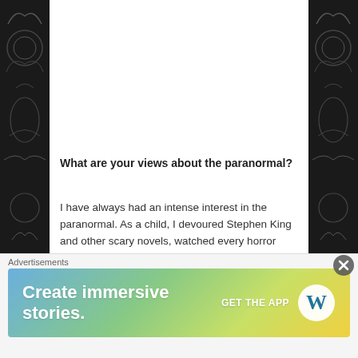What are your views about the paranormal?
I have always had an intense interest in the paranormal. As a child, I devoured Stephen King and other scary novels, watched every horror movie I could get my hands on, played with Ouija boards and was obsessed with haunted houses, alien abduction stories and any stories coming from people with experiences with ghosts. When I was younger I even used to try and hold seances by candlelight. I am to this day, always on the hunt for anything considered to be haunted and have many haunted places on my bucket list to visit, however I am much too aware of things now to be brave enough to even
[Figure (screenshot): WordPress advertisement banner: 'Create immersive stories. GET THE APP' with WordPress logo, gradient background from blue to yellow-green]
Advertisements